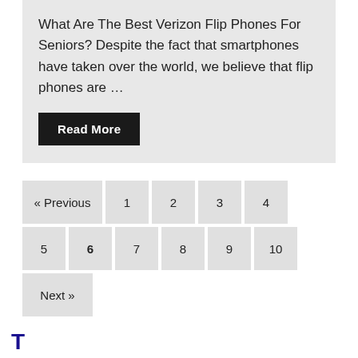What Are The Best Verizon Flip Phones For Seniors? Despite the fact that smartphones have taken over the world, we believe that flip phones are …
Read More
« Previous 1 2 3 4 5 6 7 8 9 10 Next »
T